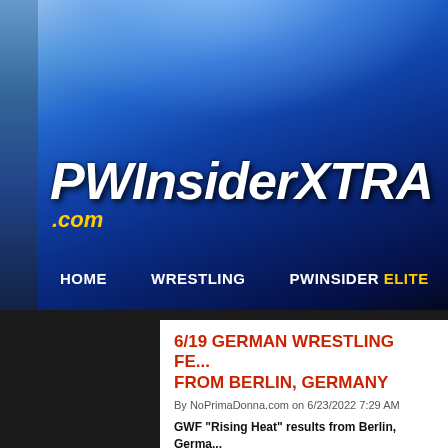[Figure (screenshot): PWInsiderXTRA website header with blue gradient background and logo]
PWInsiderXTRA .com
HOME   WRESTLING   PWINSIDER ELITE   MM
6/19 GERMAN WRESTLING FE... FROM BERLIN, GERMANY
By NoPrimaDonna.com on 6/23/2022 7:29 AM
GWF "Rising Heat" results from Berlin, Germa... YouTube: